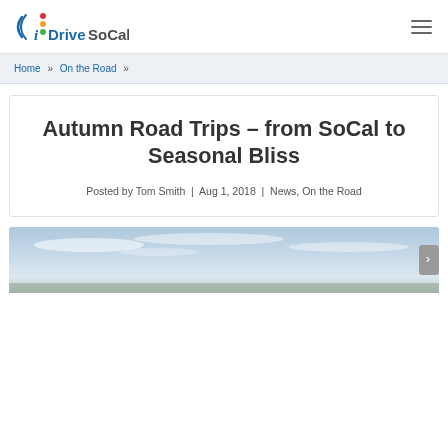iDriveSoCal
Home » On the Road »
Autumn Road Trips – from SoCal to Seasonal Bliss
Posted by Tom Smith | Aug 1, 2018 | News, On the Road
[Figure (photo): Outdoor sky photo strip at the bottom of the page, showing a pale blue sky with light clouds]